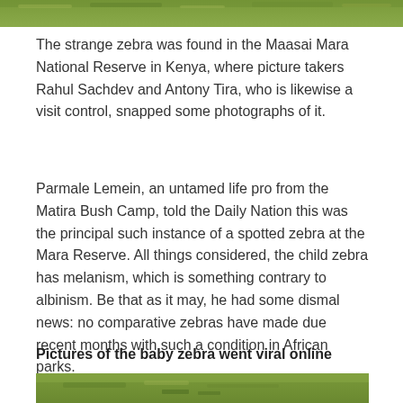[Figure (photo): Top portion of a photo showing green grass/vegetation — partial crop at top of page]
The strange zebra was found in the Maasai Mara National Reserve in Kenya, where picture takers Rahul Sachdev and Antony Tira, who is likewise a visit control, snapped some photographs of it.
Parmale Lemein, an untamed life pro from the Matira Bush Camp, told the Daily Nation this was the principal such instance of a spotted zebra at the Mara Reserve. All things considered, the child zebra has melanism, which is something contrary to albinism. Be that as it may, he had some dismal news: no comparative zebras have made due recent months with such a condition in African parks.
Pictures of the baby zebra went viral online
[Figure (photo): Bottom portion of a photo showing green grass/savanna landscape — partial crop at bottom of page]